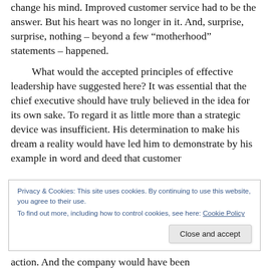change his mind. Improved customer service had to be the answer. But his heart was no longer in it. And, surprise, surprise, nothing – beyond a few “motherhood” statements – happened.
What would the accepted principles of effective leadership have suggested here? It was essential that the chief executive should have truly believed in the idea for its own sake. To regard it as little more than a strategic device was insufficient. His determination to make his dream a reality would have led him to demonstrate by his example in word and deed that customer
Privacy & Cookies: This site uses cookies. By continuing to use this website, you agree to their use.
To find out more, including how to control cookies, see here: Cookie Policy
Close and accept
action. And the company would have been